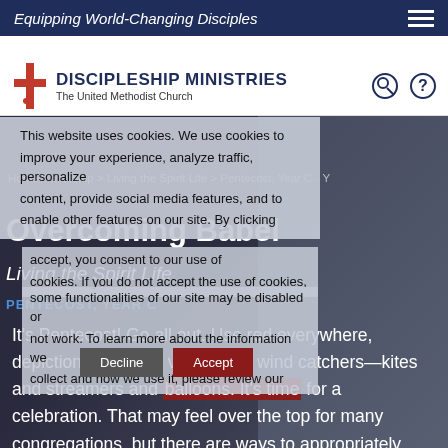Equipping World-Changing Disciples
[Figure (logo): Discipleship Ministries - The United Methodist Church logo with cross icon]
This website uses cookies. We use cookies to improve your experience, analyze traffic, personalize content, provide social media features, and to enable other features on our site. By clicking accept, you consent to our use of cookies. If you do not accept the use of cookies, some functionalities of our site may be disabled or not work. To learn more about the information we collect and how we use it, please review our
Home > Worship > Living the Spirit Life > Pentecost, Year C - Y
Overcoming Babel
Living the Spirit Life
PENTECOST, YEAR C
It's Pentecost! Go all out. Use red everywhere, depictions of flame, varieties of wind catchers—kites and streamers and balloons. It's time for a celebration. That may feel over the top for many congregations, but there are ways to appropriately